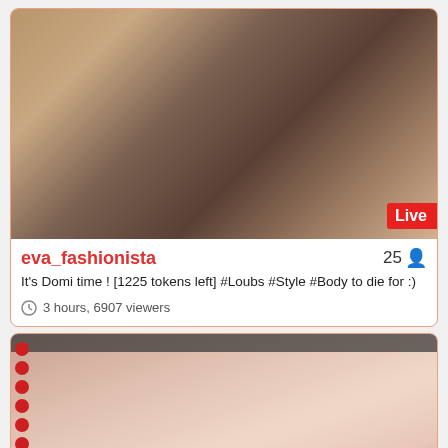[Figure (screenshot): Live webcam stream thumbnail showing person with dark tattoo and accessories, with red Live badge in bottom right corner]
eva_fashionista
25
It's Domi time ! [1225 tokens left] #Loubs #Style #Body to die for :)
3 hours, 6907 viewers
[Figure (screenshot): Second live webcam stream thumbnail showing a young woman with long brown hair, partial torso visible, warm peach/pink background tones]